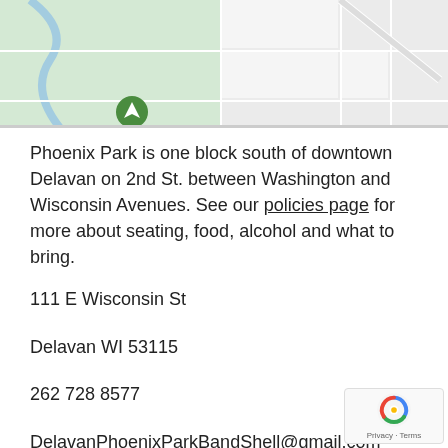[Figure (map): Google Maps screenshot showing street grid near Phoenix Park in Delavan, WI. Shows S 3rd and S 4th St labels, with a green park area and navigation icon in lower left.]
Phoenix Park is one block south of downtown Delavan on 2nd St. between Washington and Wisconsin Avenues. See our policies page for more about seating, food, alcohol and what to bring.
111 E Wisconsin St
Delavan WI 53115
262 728 8577
DelavanPhoenixParkBandShell@gmail.com
Send us a Comment or Review